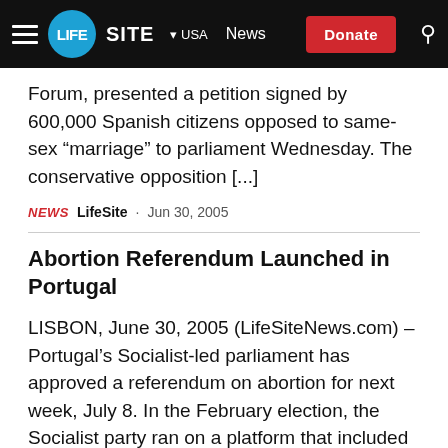LIFE SITE | USA | News | Donate
Forum, presented a petition signed by 600,000 Spanish citizens opposed to same-sex “marriage” to parliament Wednesday. The conservative opposition [...]
NEWS  LifeSite · Jun 30, 2005
Abortion Referendum Launched in Portugal
LISBON, June 30, 2005 (LifeSiteNews.com) – Portugal’s Socialist-led parliament has approved a referendum on abortion for next week, July 8. In the February election, the Socialist party ran on a platform that included a promise to conduct a national referendum to present the question...